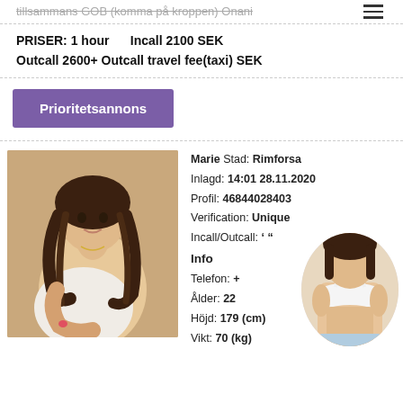tillsammans GOB (komma på kroppen) Onani
PRISER: 1 hour   Incall 2100 SEK
Outcall 2600+ Outcall travel fee(taxi) SEK
Prioritetsannons
Marie Stad: Rimforsa
Inlagd: 14:01 28.11.2020
Profil: 46844028403
Verification: Unique
Incall/Outcall:
Info
Telefon: +
Ålder: 22
Höjd: 179 (cm)
Vikt: 70 (kg)
[Figure (photo): Photo of a young woman with long dark wavy hair, partially covered]
[Figure (photo): Circular overlay thumbnail of a woman in white bra top]